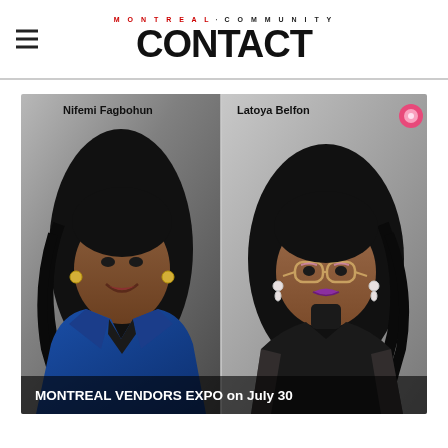CONTACT MONTREAL COMMUNITY
[Figure (photo): Two women side by side: Nifemi Fagbohun (left, wearing blue blazer with long curly hair) and Latoya Belfon (right, wearing glasses with purple lipstick and curly hair). Text overlay at bottom reads 'MONTREAL VENDORS EXPO on July 30'.]